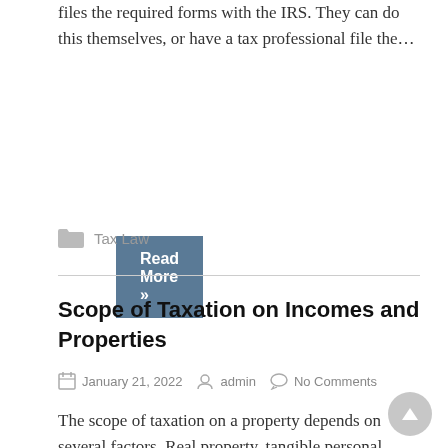files the required forms with the IRS. They can do this themselves, or have a tax professional file the…
Read More »
Tax Law
Scope of Taxation on Incomes and Properties
January 21, 2022   admin   No Comments
The scope of taxation on a property depends on several factors. Real property, tangible personal property, and intangible property are all taxed. The type of property and the owner determine whether the property is taxed or not, said louisianataxattorneys.net. Certain types of properties are exempt from taxation.